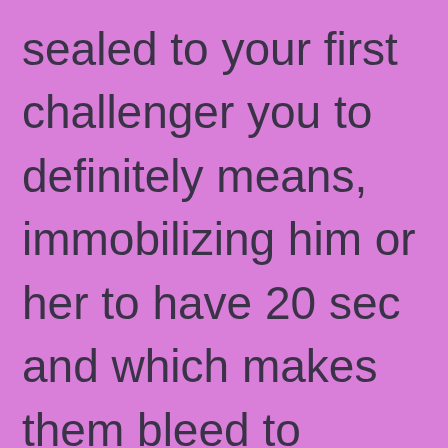sealed to your first challenger you to definitely means, immobilizing him or her to have 20 sec and which makes them bleed to possess 2,378 wreck over